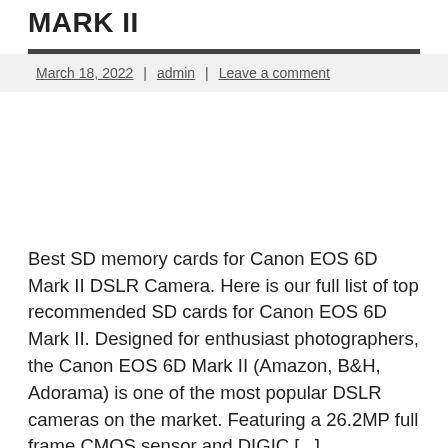MARK II
March 18, 2022 | admin | Leave a comment
Best SD memory cards for Canon EOS 6D Mark II DSLR Camera. Here is our full list of top recommended SD cards for Canon EOS 6D Mark II. Designed for enthusiast photographers, the Canon EOS 6D Mark II (Amazon, B&H, Adorama) is one of the most popular DSLR cameras on the market. Featuring a 26.2MP full frame CMOS sensor and DIGIC [...]